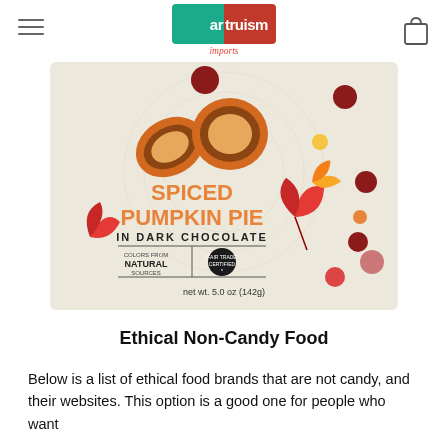artruism imports
[Figure (photo): Product image of a bag of Spiced Pumpkin Pie in Dark Chocolate candy. The bag features autumn leaf decorations, chocolate-covered pumpkin pie pieces, and text reading: SPICED PUMPKIN PIE IN DARK CHOCOLATE, COLORS FROM NATURAL SOURCES, Fair Trade Certified, net wt. 5.0 oz (142g)]
Ethical Non-Candy Food
Below is a list of ethical food brands that are not candy, and their websites. This option is a good one for people who want